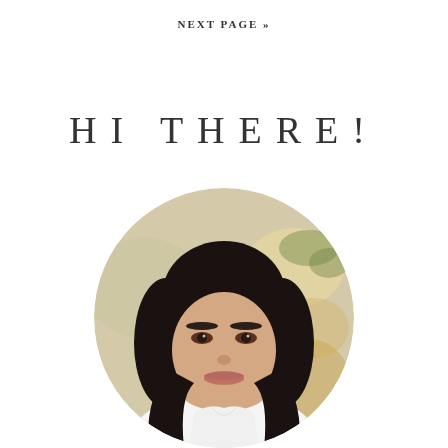NEXT PAGE »
HI THERE!
[Figure (photo): Circular cropped portrait photo of a young woman with dark shoulder-length hair, wearing a white top, smiling, with a blurred indoor background featuring warm bokeh lights and greenery.]